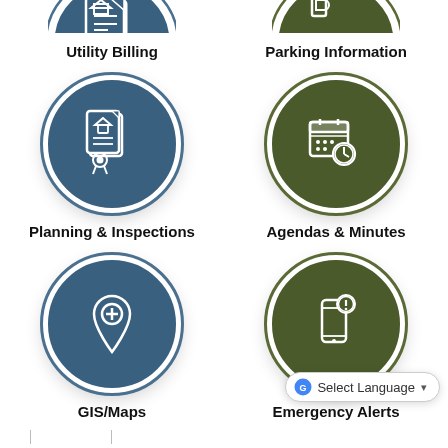[Figure (illustration): Blue circle icon with document/permit symbol (partially visible at top)]
Utility Billing
[Figure (illustration): Green circle icon partially visible at top]
Parking Information
[Figure (illustration): Blue circle icon with house permit/document and ribbon seal]
Planning & Inspections
[Figure (illustration): Green circle icon with calendar and clock]
Agendas & Minutes
[Figure (illustration): Blue circle icon with map pin/location marker with plus sign]
GIS/Maps
[Figure (illustration): Green circle icon with mobile phone and alert/notification symbol]
Emergency Alerts
[Figure (other): Select Language dropdown widget (Google Translate)]